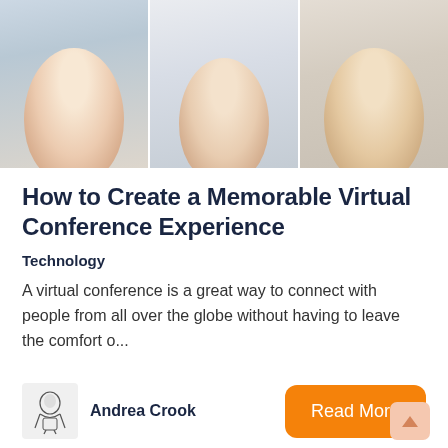[Figure (photo): Three people on video conference: a smiling woman with white headphones on the left, a young man with glasses in the center, and a smiling man with a headset waving on the right.]
How to Create a Memorable Virtual Conference Experience
Technology
A virtual conference is a great way to connect with people from all over the globe without having to leave the comfort o...
[Figure (illustration): Small sketch illustration of a person working at a laptop — author avatar for Andrea Crook]
Andrea Crook